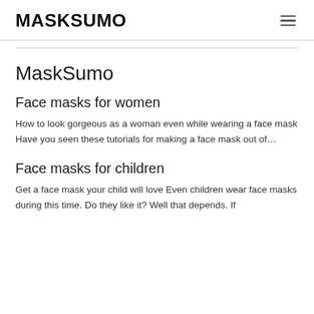MASKSUMO
MaskSumo
Face masks for women
How to look gorgeous as a woman even while wearing a face mask Have you seen these tutorials for making a face mask out of…
Face masks for children
Get a face mask your child will love Even children wear face masks during this time. Do they like it? Well that depends. If